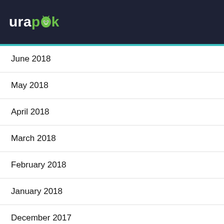urapk
June 2018
May 2018
April 2018
March 2018
February 2018
January 2018
December 2017
November 2017
October 2017
September 2017
August 2017